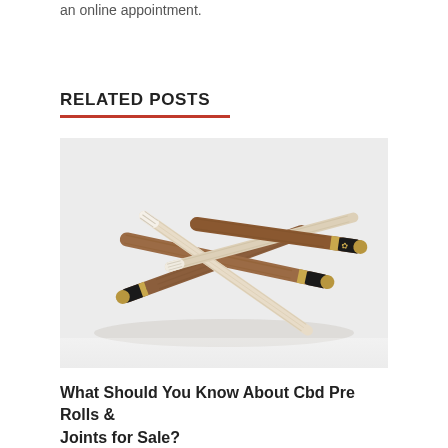an online appointment.
RELATED POSTS
[Figure (photo): Several cannabis pre-roll joints and blunts crossed over each other on a white/gray background. Brown blunts with black and gold branded tips mixed with lighter cream-colored joints.]
What Should You Know About Cbd Pre Rolls & Joints for Sale?